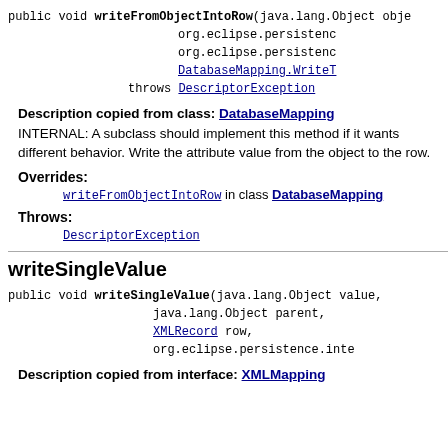public void writeFromObjectIntoRow(java.lang.Object object, org.eclipse.persistence, org.eclipse.persistence, DatabaseMapping.WriteT throws DescriptorException
Description copied from class: DatabaseMapping INTERNAL: A subclass should implement this method if it wants different behavior. Write the attribute value from the object to the row.
Overrides:
writeFromObjectIntoRow in class DatabaseMapping
Throws:
DescriptorException
writeSingleValue
public void writeSingleValue(java.lang.Object value, java.lang.Object parent, XMLRecord row, org.eclipse.persistence.inte
Description copied from interface: XMLMapping